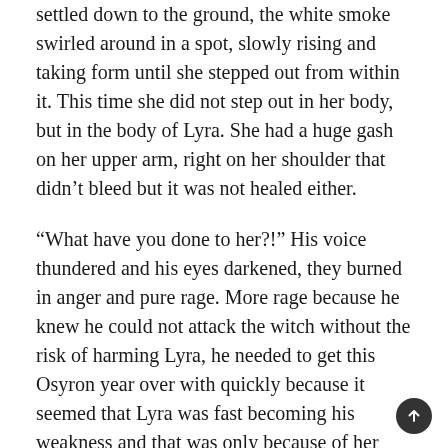settled down to the ground, the white smoke swirled around in a spot, slowly rising and taking form until she stepped out from within it. This time she did not step out in her body, but in the body of Lyra. She had a huge gash on her upper arm, right on her shoulder that didn't bleed but it was not healed either.
“What have you done to her?!” His voice thundered and his eyes darkened, they burned in anger and pure rage. More rage because he knew he could not attack the witch without the risk of harming Lyra, he needed to get this Osyron year over with quickly because it seemed that Lyra was fast becoming his weakness and that was only because of her importance. She was needed and she was necessary and right now, she was indispensable.
“This?” She asked, rubbing a finger over the huge gash on her shoulder. “Oh this was not my doing…